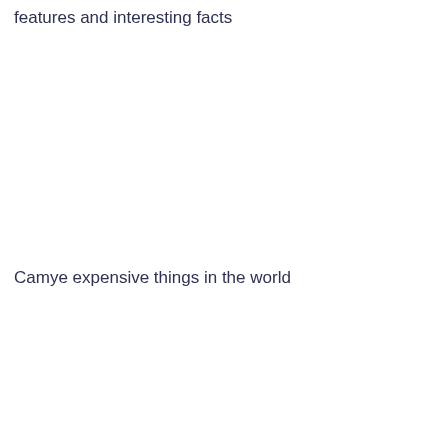features and interesting facts
Camye expensive things in the world